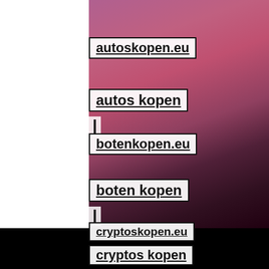autoskopen.eu
autos kopen
|
botenkopen.eu
boten kopen
|
cryptoskopen.eu
cryptos kopen
parkereninamsterdam.eu